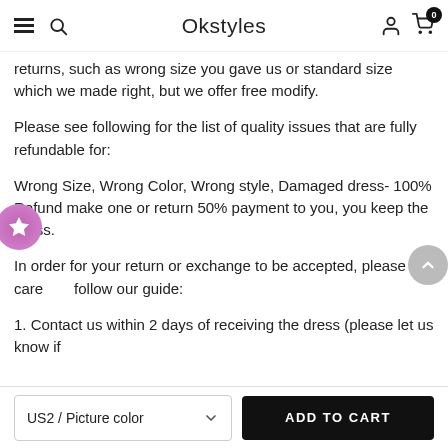Okstyles
returns, such as wrong size you gave us or standard size which we made right, but we offer free modify.
Please see following for the list of quality issues that are fully refundable for:
Wrong Size, Wrong Color, Wrong style, Damaged dress- 100% Refund make one or return 50% payment to you, you keep the dress.
In order for your return or exchange to be accepted, please carefully follow our guide:
1. Contact us within 2 days of receiving the dress (please let us know if
US2 / Picture color
ADD TO CART